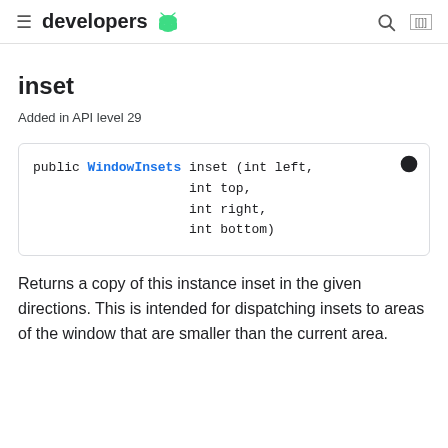≡ developers 🤖 🔍 ☐☐
inset
Added in API level 29
public WindowInsets inset (int left,
                    int top,
                    int right,
                    int bottom)
Returns a copy of this instance inset in the given directions. This is intended for dispatching insets to areas of the window that are smaller than the current area.